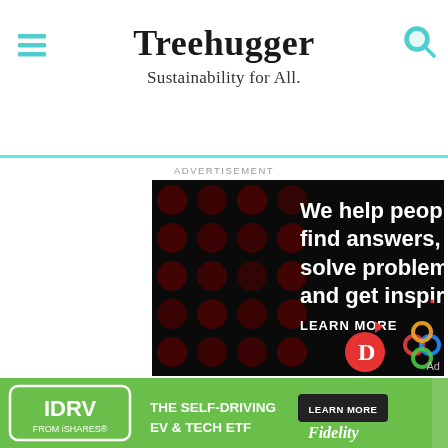Treehugger — Sustainability for All.
Advertisement
[Figure (infographic): Dark advertisement with dots pattern: 'We help people find answers, solve problems and get inspired. LEARN MORE' with Dotdash 'D' logo and colorful knot logo]
[Figure (infographic): Green banner ad: IDRV FROM iSHARES. THE SELF-DRIVING EV & TECH ETF. LEARN MORE. Fidelity logo.]